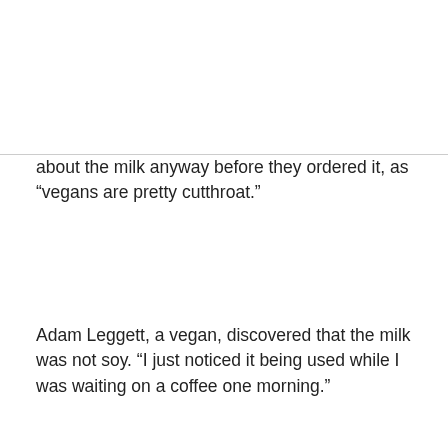about the milk anyway before they ordered it, as “vegans are pretty cutthroat.”
Adam Leggett, a vegan, discovered that the milk was not soy. “I just noticed it being used while I was waiting on a coffee one morning.”
He and his partner had previously assumed their coffees were vegan, but they enquired about the milk and discovered their mistake.
Leggett let other vegans know about the issue through the university club Vegetarians and Vegans at Vic.
“It wasn’t a big enough issue as to cause a huge uproar, but it’s something I try to avoid in order to keep up a consistency with my